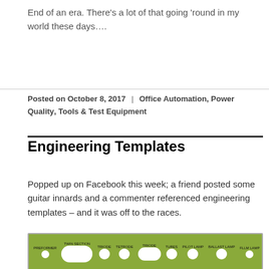End of an era. There’s a lot of that going ‘round in my world these days….
Posted on October 8, 2017 | Office Automation, Power Quality, Tools & Test Equipment
Engineering Templates
Popped up on Facebook this week; a friend posted some guitar innards and a commenter referenced engineering templates – and it was off to the races.
[Figure (photo): Green circuit board / engineering template panel with white knobs, pill-shaped elements, and small text labels for TRIODE, TETRODE, TUBES, BALLAST LAMP, PILOT LAMP sections]